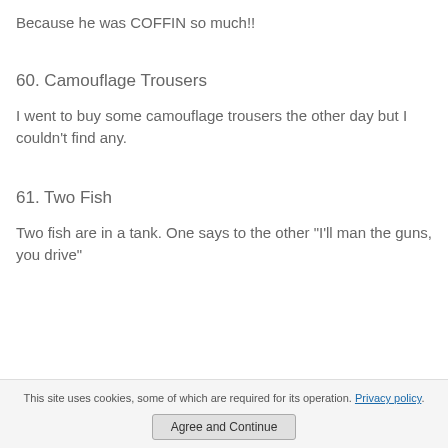Because he was COFFIN so much!!
60. Camouflage Trousers
I went to buy some camouflage trousers the other day but I couldn't find any.
61. Two Fish
Two fish are in a tank. One says to the other "I'll man the guns, you drive"
This site uses cookies, some of which are required for its operation. Privacy policy. Agree and Continue